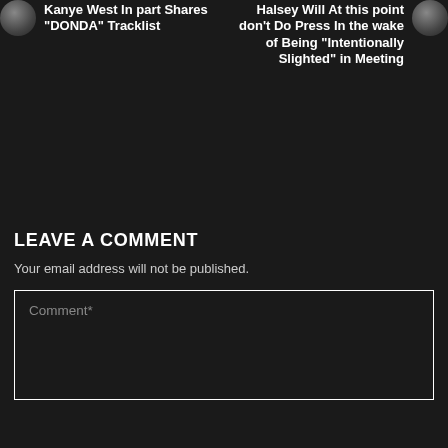Kanye West In part Shares “DONDA” Tracklist
Halsey Will At this point don’t Do Press In the wake of Being “Intentionally Slighted” in Meeting
LEAVE A COMMENT
Your email address will not be published.
Comment*